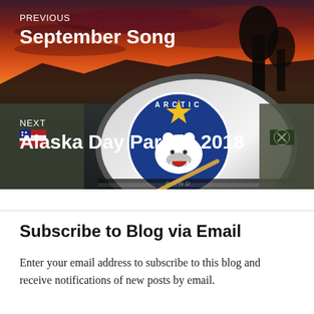[Figure (photo): Composite navigation image showing two blog post links. Top half shows a dramatic red/purple sunset sky with trees silhouetted, labeled PREVIOUS / September Song. Bottom half shows military band members in camouflage uniforms with a large bass drum bearing the Arctic Band logo (polar bear, star, blue circle), labeled NEXT / Alaska Day Parade 2018.]
Subscribe to Blog via Email
Enter your email address to subscribe to this blog and receive notifications of new posts by email.